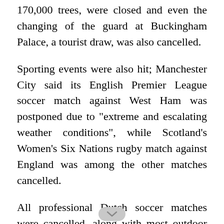170,000 trees, were closed and even the changing of the guard at Buckingham Palace, a tourist draw, was also cancelled.
Sporting events were also hit; Manchester City said its English Premier League soccer match against West Ham was postponed due to "extreme and escalating weather conditions", while Scotland's Women's Six Nations rugby match against England was among the other matches cancelled.
All professional Dutch soccer matches were cancelled, along with most outdoor sporting events.